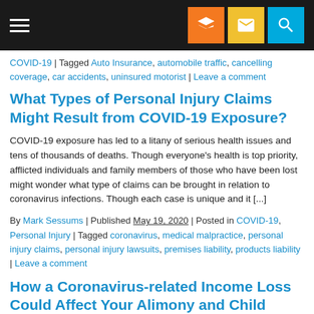Navigation bar with hamburger menu and icons
COVID-19 | Tagged Auto Insurance, automobile traffic, cancelling coverage, car accidents, uninsured motorist | Leave a comment
What Types of Personal Injury Claims Might Result from COVID-19 Exposure?
COVID-19 exposure has led to a litany of serious health issues and tens of thousands of deaths. Though everyone's health is top priority, afflicted individuals and family members of those who have been lost might wonder what type of claims can be brought in relation to coronavirus infections. Though each case is unique and it [...]
By Mark Sessums | Published May 19, 2020 | Posted in COVID-19, Personal Injury | Tagged coronavirus, medical malpractice, personal injury claims, personal injury lawsuits, premises liability, products liability | Leave a comment
How a Coronavirus-related Income Loss Could Affect Your Alimony and Child Support
Many people have faced a job loss or reduction in income due the coronavirus and it might be difficult for...